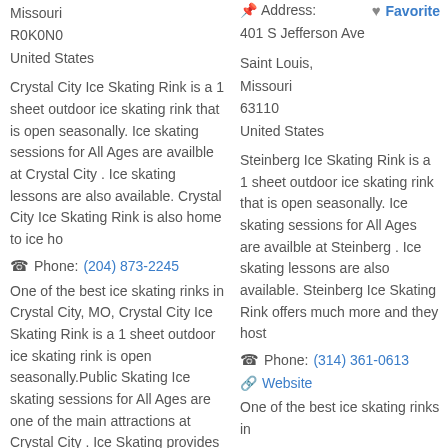Missouri
R0K0N0
United States
Crystal City Ice Skating Rink is a 1 sheet outdoor ice skating rink that is open seasonally. Ice skating sessions for All Ages are availble at Crystal City . Ice skating lessons are also available. Crystal City Ice Skating Rink is also home to ice ho
Phone: (204) 873-2245
One of the best ice skating rinks in Crystal City, MO, Crystal City Ice Skating Rink is a 1 sheet outdoor ice skating rink is open seasonally.Public Skating Ice skating sessions for All Ages are one of the main attractions at Crystal City . Ice Skating provides great exercise and an opportunity to
Favorite
Address:
401 S Jefferson Ave
Saint Louis,
Missouri
63110
United States
Steinberg Ice Skating Rink is a 1 sheet outdoor ice skating rink that is open seasonally. Ice skating sessions for All Ages are availble at Steinberg . Ice skating lessons are also available. Steinberg Ice Skating Rink offers much more and they host
Phone: (314) 361-0613
Website
One of the best ice skating rinks in